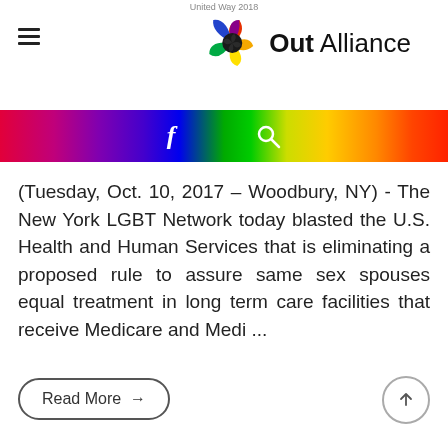United Way 2018
[Figure (logo): Out Alliance logo — colorful pinwheel icon with text 'Out Alliance']
[Figure (infographic): Rainbow gradient navigation bar with Facebook icon (f) and search icon]
(Tuesday, Oct. 10, 2017 – Woodbury, NY) - The New York LGBT Network today blasted the U.S. Health and Human Services that is eliminating a proposed rule to assure same sex spouses equal treatment in long term care facilities that receive Medicare and Medi ...
Read More →